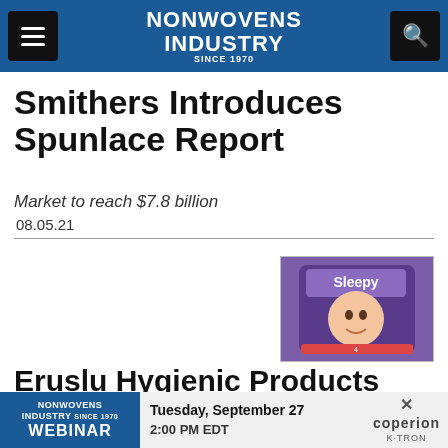NONWOVENS INDUSTRY
Smithers Introduces Spunlace Report
Market to reach $7.8 billion
08.05.21
[Figure (photo): Product packaging photo showing Sleepy brand diapers with a child's face on purple packaging]
Eruslu Hygienic Products
...
NONWOVENS INDUSTRY Webinar | Tuesday, September 27 2:00 PM EDT | coperion K-TRON